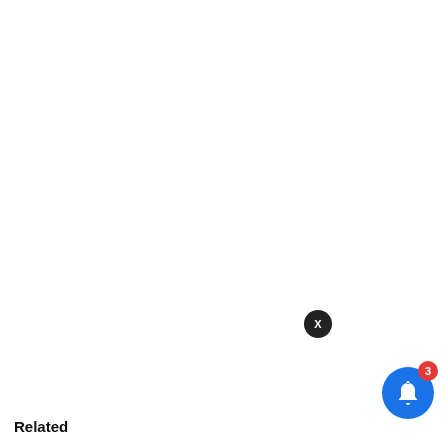[Figure (screenshot): White blank area occupying upper portion of the page]
[Figure (infographic): Notification card with GlamTush logo showing article: 'I Didn't Know How I Defiled 14-Year-Old Chorister –' posted 8 hours ago, with a close (X) button, a blue notification bell with red badge showing 3]
Related